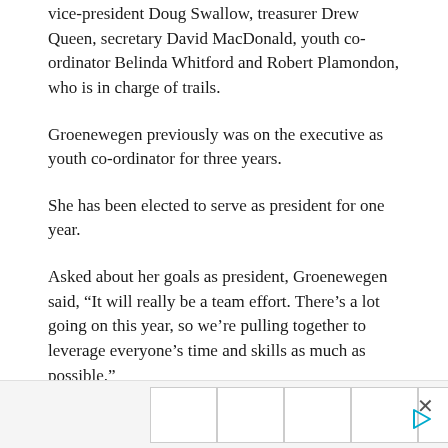vice-president Doug Swallow, treasurer Drew Queen, secretary David MacDonald, youth co-ordinator Belinda Whitford and Robert Plamondon, who is in charge of trails.
Groenewegen previously was on the executive as youth co-ordinator for three years.
She has been elected to serve as president for one year.
Asked about her goals as president, Groenewegen said, “It will really be a team effort. There’s a lot going on this year, so we’re pulling together to leverage everyone’s time and skills as much as possible.”